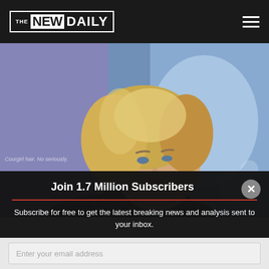THE NEW DAILY
[Figure (photo): Blonde woman with wavy hair wearing a black sequined outfit, photographed against a blue/purple bokeh background, performing or posing on stage.]
Join 1.7 Million Subscribers
Subscribe for free to get the latest breaking news and analysis sent to your inbox.
Enter your email address